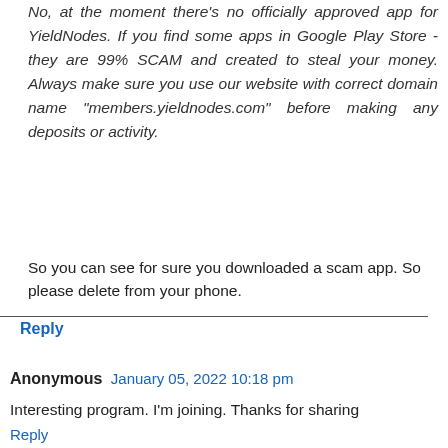No, at the moment there's no officially approved app for YieldNodes. If you find some apps in Google Play Store - they are 99% SCAM and created to steal your money. Always make sure you use our website with correct domain name "members.yieldnodes.com" before making any deposits or activity.
So you can see for sure you downloaded a scam app. So please delete from your phone.
Reply
Anonymous  January 05, 2022 10:18 pm
Interesting program. I'm joining. Thanks for sharing
Reply